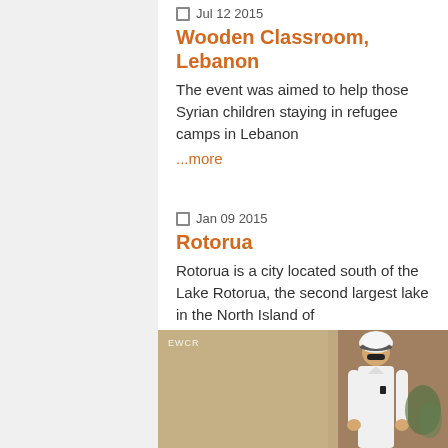Jul 12 2015
Wooden Classroom, Lebanon
The event was aimed to help those Syrian children staying in refugee camps in Lebanon
...more
Jan 09 2015
Rotorua
Rotorua is a city located south of the Lake Rotorua, the second largest lake in the North Island of
...more
[Figure (photo): A man wearing a white thobe and traditional headdress with sunglasses, standing near a wall with greenery. EWCR watermark in upper left.]